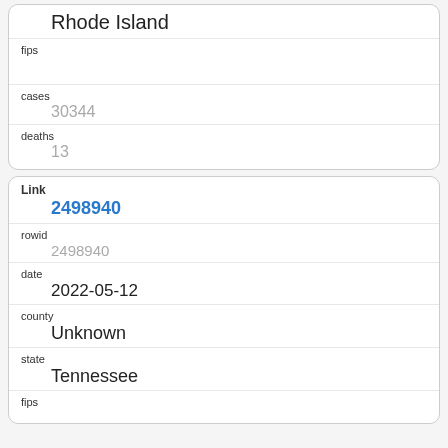| field | value |
| --- | --- |
| (state) | Rhode Island |
| fips |  |
| cases | 30344 |
| deaths | 13 |
| field | value |
| --- | --- |
| Link | 2498940 |
| rowid | 2498940 |
| date | 2022-05-12 |
| county | Unknown |
| state | Tennessee |
| fips |  |